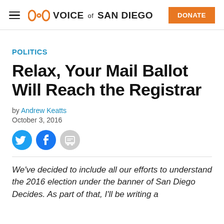Voice of San Diego | DONATE
POLITICS
Relax, Your Mail Ballot Will Reach the Registrar
by Andrew Keatts
October 3, 2016
We've decided to include all our efforts to understand the 2016 election under the banner of San Diego Decides. As part of that, I'll be writing a